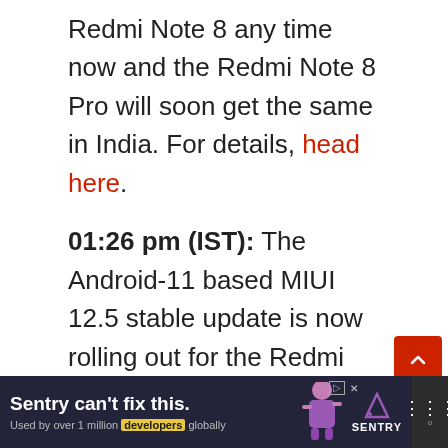Redmi Note 8 any time now and the Redmi Note 8 Pro will soon get the same in India. For details, head here.
01:26 pm (IST): The Android-11 based MIUI 12.5 stable update is now rolling out for the Redmi Note 9 Global through the Pilot Testers porgam. Head here for details.
[Figure (screenshot): Advertisement banner for Sentry at the bottom of the page, showing 'Sentry can't fix this.' headline with purple/dark background and Sentry logo.]